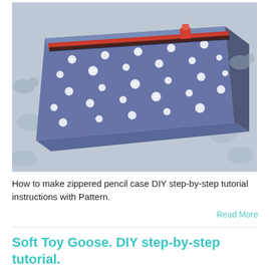[Figure (photo): A blue fabric zippered pencil case with white polka dot / star pattern and a red zipper, lying on top of a grey patterned fabric with cartoon animal/duck prints.]
How to make zippered pencil case DIY step-by-step tutorial instructions with Pattern.
Read More
Soft Toy Goose. DIY step-by-step tutorial.